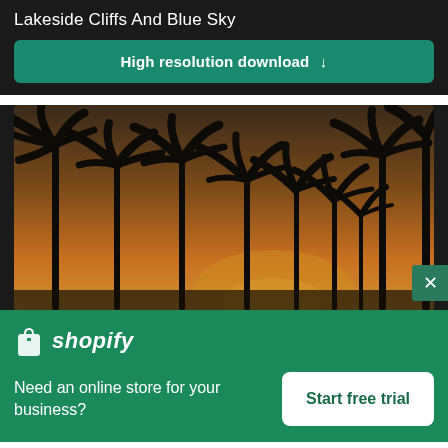Lakeside Cliffs And Blue Sky
High resolution download ↓
[Figure (photo): Silhouette of palm trees against a warm orange and brown sunset sky, viewed from below]
shopify
Need an online store for your business?
Start free trial